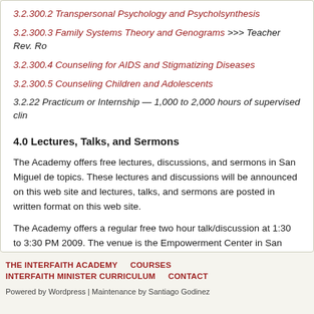3.2.300.2 Transpersonal Psychology and Psycholsynthesis
3.2.300.3 Family Systems Theory and Genograms >>> Teacher Rev. Ro
3.2.300.4 Counseling for AIDS and Stigmatizing Diseases
3.2.300.5 Counseling Children and Adolescents
3.2.22 Practicum or Internship — 1,000 to 2,000 hours of supervised clin
4.0 Lectures, Talks, and Sermons
The Academy offers free lectures, discussions, and sermons in San Miguel de topics. These lectures and discussions will be announced on this web site and lectures, talks, and sermons are posted in written format on this web site.
The Academy offers a regular free two hour talk/discussion at 1:30 to 3:30 PM 2009. The venue is the Empowerment Center in San Miguel de Allende, GTO,
THE INTERFAITH ACADEMY   COURSES   INTERFAITH MINISTER CURRICULUM   CONTACT
Powered by Wordpress | Maintenance by Santiago Godinez